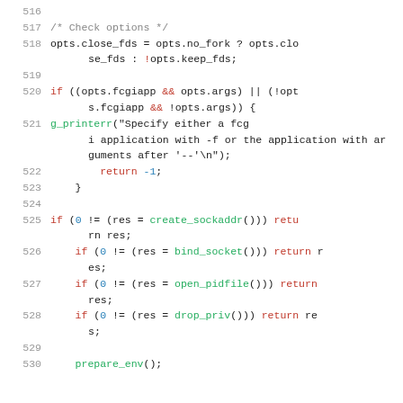Source code listing, lines 516-530, C code snippet with line numbers
[Figure (screenshot): Code snippet showing C source code lines 516-530 with syntax highlighting: keywords in red, function names in green, numbers in blue, comments in gray]